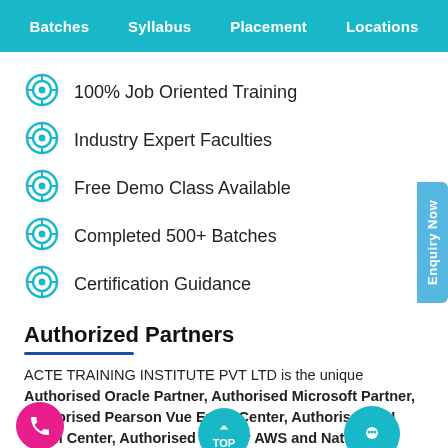Batches  Syllabus  Placement  Locations
100% Job Oriented Training
Industry Expert Faculties
Free Demo Class Available
Completed 500+ Batches
Certification Guidance
Authorized Partners
ACTE TRAINING INSTITUTE PVT LTD is the unique Authorised Oracle Partner, Authorised Microsoft Partner, Authorised Pearson Vue Exam Center, Authorised PSI Exam Center, Authorised Partner AWS and National Institute of Education (nie)